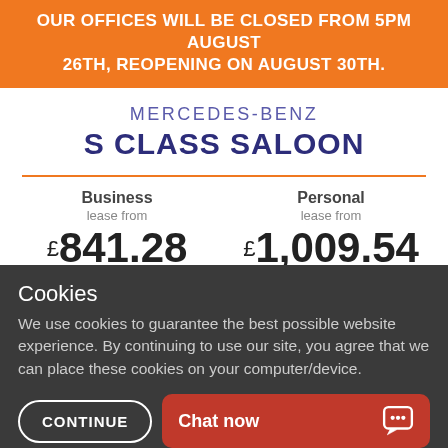OUR OFFICES WILL BE CLOSED FROM 5PM AUGUST 26TH, REOPENING ON AUGUST 30TH.
MERCEDES-BENZ S CLASS SALOON
Business lease from £841.28 per month plus VAT | Personal lease from £1,009.54 per month incl. VAT
GET A QUOTE
Cookies
We use cookies to guarantee the best possible website experience. By continuing to use our site, you agree that we can place these cookies on your computer/device.
CONTINUE
Chat now